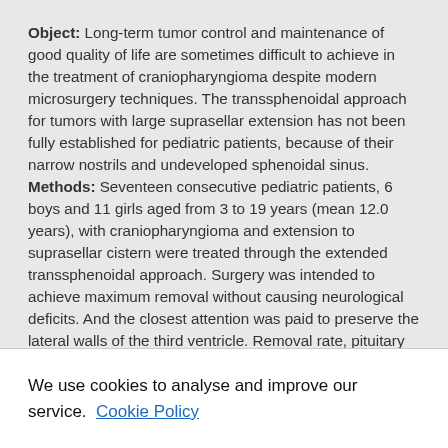Object: Long-term tumor control and maintenance of good quality of life are sometimes difficult to achieve in the treatment of craniopharyngioma despite modern microsurgery techniques. The transsphenoidal approach for tumors with large suprasellar extension has not been fully established for pediatric patients, because of their narrow nostrils and undeveloped sphenoidal sinus. Methods: Seventeen consecutive pediatric patients, 6 boys and 11 girls aged from 3 to 19 years (mean 12.0 years), with craniopharyngioma and extension to suprasellar cistern were treated through the extended transsphenoidal approach. Surgery was intended to achieve maximum removal without causing neurological deficits. And the closest attention was paid to preserve the lateral walls of the third ventricle. Removal rate, pituitary function, and adverse events were evaluated. Results: Gross total removal was achieved in 14 of 17 patients, and all patients were discharged without autonomic and/or thermal disturbances except for 2 patients with preoperative
We use cookies to analyse and improve our service. Cookie Policy